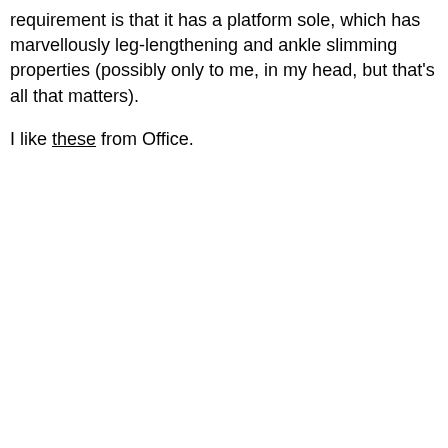requirement is that it has a platform sole, which has marvellously leg-lengthening and ankle slimming properties (possibly only to me, in my head, but that's all that matters).
I like these from Office.